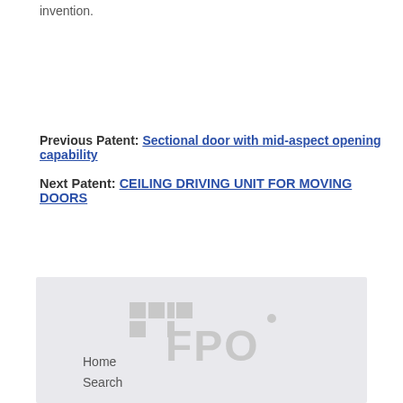invention.
Previous Patent: Sectional door with mid-aspect opening capability
Next Patent: CEILING DRIVING UNIT FOR MOVING DOORS
[Figure (logo): FPO logo - grid pattern with FPO text in light gray]
Home
Search